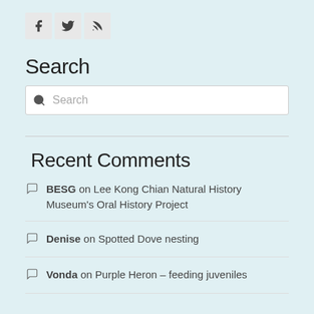[Figure (illustration): Three social media icon buttons: Facebook (f), Twitter (bird), RSS (feed icon), displayed as square grey buttons]
Search
Search (search input box placeholder)
Recent Comments
BESG on Lee Kong Chian Natural History Museum's Oral History Project
Denise on Spotted Dove nesting
Vonda on Purple Heron – feeding juveniles